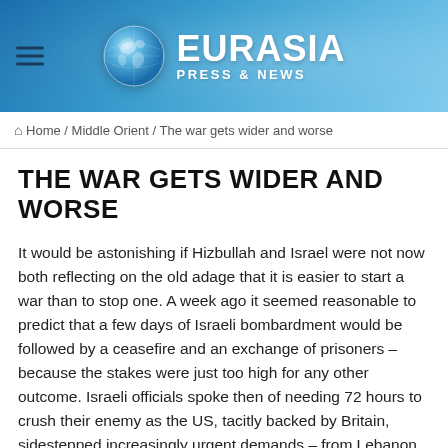[Figure (logo): Eurasia Press & News website header banner with globe logo and gradient blue background]
🏠 Home / Middle Orient / The war gets wider and worse
THE WAR GETS WIDER AND WORSE
It would be astonishing if Hizbullah and Israel were not now both reflecting on the old adage that it is easier to start a war than to stop one. A week ago it seemed reasonable to predict that a few days of Israeli bombardment would be followed by a ceasefire and an exchange of prisoners – because the stakes were just too high for any other outcome. Israeli officials spoke then of needing 72 hours to crush their enemy as the US, tacitly backed by Britain, sidestepped increasingly urgent demands – from Lebanon, the UN, France and others – for an immediate cessation of hostilities. Ten days on, the rockets are still flying, bombs falling and innocent civilians dying or